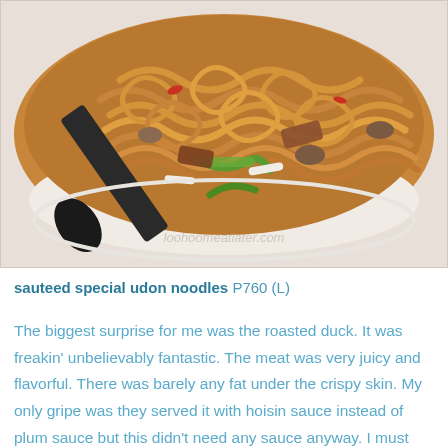[Figure (photo): Close-up photo of sauteed special udon noodles on a white plate, with vegetables, mushrooms, and meat visible. A dark serving spoon/spatula is visible on the left side. Watermark reads 'loohoomeatlater.com'.]
sauteed special udon noodles P760 (L)
The biggest surprise for me was the roasted duck. It was freakin' unbelievably fantastic. The meat was very juicy and flavorful. There was barely any fat under the crispy skin. My only gripe was they served it with hoisin sauce instead of plum sauce but this didn't need any sauce anyway. I must have eaten 4 pieces and I wanted